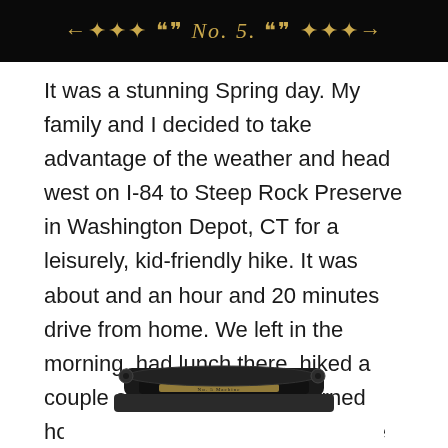No. 5.
It was a stunning Spring day. My family and I decided to take advantage of the weather and head west on I-84 to Steep Rock Preserve in Washington Depot, CT for a leisurely, kid-friendly hike. It was about and an hour and 20 minutes drive from home. We left in the morning, had lunch there, hiked a couple of trails and then returned home to central CT down the same stretch of highway. And just as we got home, that's when I received an email about this typewriter.
[Figure (photo): Partial view of a vintage typewriter, dark/black body with gold lettering, photographed from above at an angle, only the top portion visible at bottom of page.]